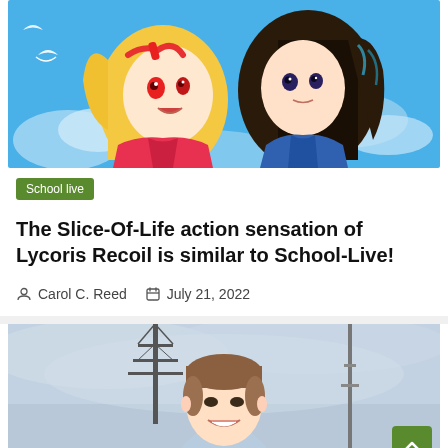[Figure (illustration): Anime illustration showing two girls (one blonde with red eyes, one dark-haired) against a bright blue sky with white birds]
School live
The Slice-Of-Life action sensation of Lycoris Recoil is similar to School-Live!
Carol C. Reed   July 21, 2022
[Figure (photo): Young man smiling outdoors wearing a light blue hoodie with a lanyard, standing near a tower structure against an overcast sky]